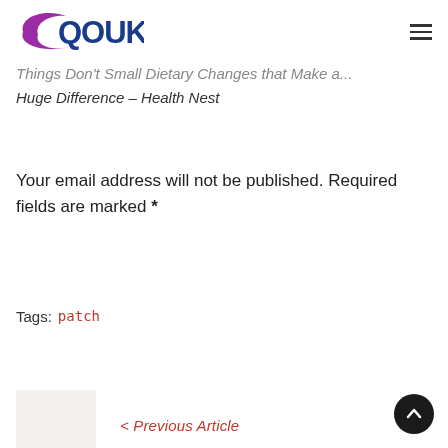QOUK
Things Don't Small Dietary Changes that Make a Huge Difference – Health Nest
Your email address will not be published. Required fields are marked *
Tags: patch
< Previous Article